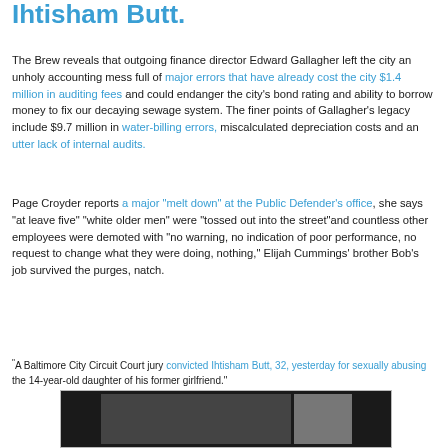Ihtisham Butt.
The Brew reveals that outgoing finance director Edward Gallagher left the city an unholy accounting mess full of major errors that have already cost the city $1.4 million in auditing fees and could endanger the city's bond rating and ability to borrow money to fix our decaying sewage system. The finer points of Gallagher's legacy include $9.7 million in water-billing errors, miscalculated depreciation costs and an utter lack of internal audits.
Page Croyder reports a major "melt down" at the Public Defender's office, she says "at leave five" "white older men" were "tossed out into the street"and countless other employees were demoted with "no warning, no indication of poor performance, no request to change what they were doing, nothing," Elijah Cummings' brother Bob's job survived the purges, natch.
"A Baltimore City Circuit Court jury convicted Ihtisham Butt, 32, yesterday for sexually abusing the 14-year-old daughter of his former girlfriend."
[Figure (photo): A dark strip showing a photo of a person, partially visible at the bottom of the page.]